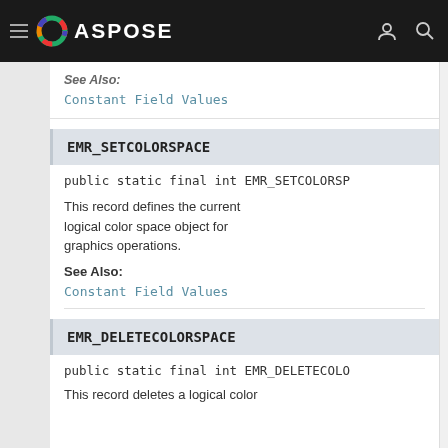ASPOSE
See Also:
Constant Field Values
EMR_SETCOLORSPACE
public static final int EMR_SETCOLORSPACE
This record defines the current logical color space object for graphics operations.
See Also:
Constant Field Values
EMR_DELETECOLORSPACE
public static final int EMR_DELETECOLORSPACE
This record deletes a logical color